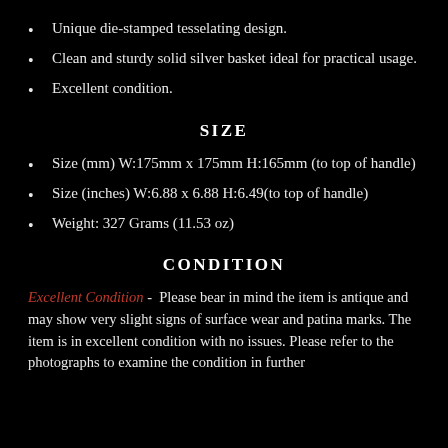Unique die-stamped tesselating design.
Clean and sturdy solid silver basket ideal for practical usage.
Excellent condition.
SIZE
Size (mm) W:175mm x 175mm H:165mm (to top of handle)
Size (inches) W:6.88 x 6.88 H:6.49(to top of handle)
Weight: 327 Grams (11.53 oz)
CONDITION
Excellent Condition - Please bear in mind the item is antique and may show very slight signs of surface wear and patina marks. The item is in excellent condition with no issues. Please refer to the photographs to examine the condition in further